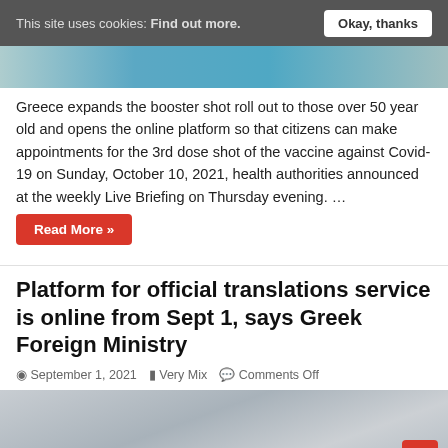This site uses cookies: Find out more.  Okay, thanks
[Figure (photo): Partial view of a blue/teal colored image at the top of the page]
Greece expands the booster shot roll out to those over 50 year old and opens the online platform so that citizens can make appointments for the 3rd dose shot of the vaccine against Covid-19 on Sunday, October 10, 2021, health authorities announced at the weekly Live Briefing on Thursday evening. …
Read More »
Platform for official translations service is online from Sept 1, says Greek Foreign Ministry
September 1, 2021   Very Mix   Comments Off
[Figure (photo): Partial view of a building exterior (Greek Foreign Ministry)]